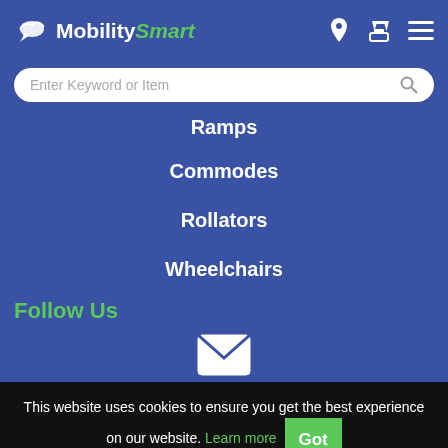MobilitySmart
Ramps
Commodes
Rollators
Wheelchairs
Follow Us
[Figure (illustration): Envelope/email icon in white]
This website uses cookies to ensure you get the best experience on our website. Learn more Got It